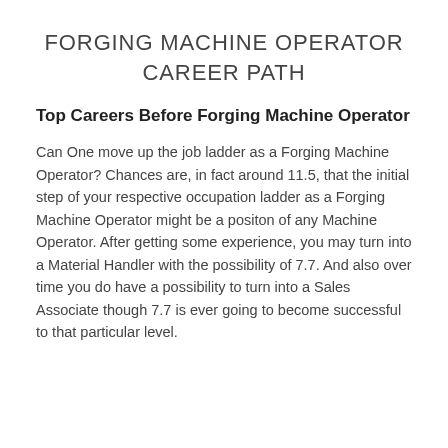FORGING MACHINE OPERATOR CAREER PATH
Top Careers Before Forging Machine Operator
Can One move up the job ladder as a Forging Machine Operator? Chances are, in fact around 11.5, that the initial step of your respective occupation ladder as a Forging Machine Operator might be a positon of any Machine Operator. After getting some experience, you may turn into a Material Handler with the possibility of 7.7. And also over time you do have a possibility to turn into a Sales Associate though 7.7 is ever going to become successful to that particular level.